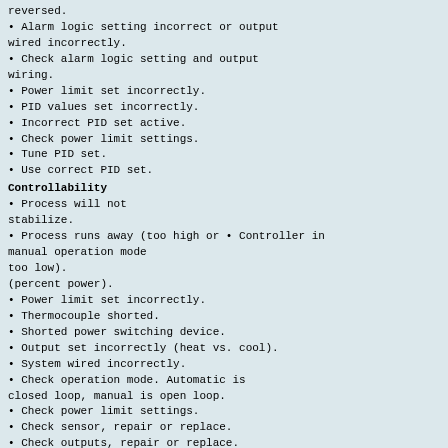reversed.
• Alarm logic setting incorrect or output wired incorrectly.
• Check alarm logic setting and output wiring.
• Power limit set incorrectly.
• PID values set incorrectly.
• Incorrect PID set active.
• Check power limit settings.
• Tune PID set.
• Use correct PID set.
Controllability
• Process will not stabilize.
• Process runs away (too high or • Controller in manual operation mode too low). (percent power).
• Power limit set incorrectly.
• Thermocouple shorted.
• Shorted power switching device.
• Output set incorrectly (heat vs. cool).
• System wired incorrectly.
• Check operation mode. Automatic is closed loop, manual is open loop.
• Check power limit settings.
• Check sensor, repair or replace.
• Check outputs, repair or replace.
• Check output settings.
• Check system wiring.
• Process will not reach set point.
• PID values set incorrectly.